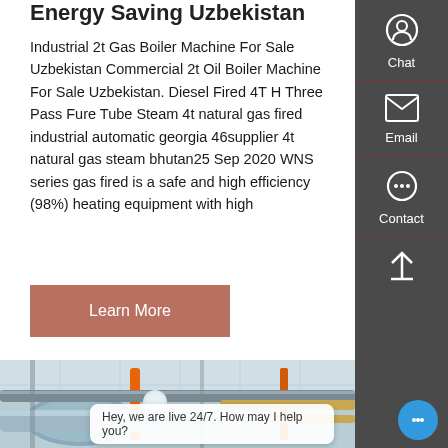Energy Saving Uzbekistan
Industrial 2t Gas Boiler Machine For Sale Uzbekistan Commercial 2t Oil Boiler Machine For Sale Uzbekistan. Diesel Fired 4T H Three Pass Fure Tube Steam 4t natural gas fired industrial automatic georgia 46supplier 4t natural gas steam bhutan25 Sep 2020 WNS series gas fired is a safe and high efficiency (98%) heating equipment with high
Learn More
[Figure (photo): Industrial boiler room with insulated pipes and ductwork, showing metal piping infrastructure with orange and gray colored pipes running along the ceiling]
Hey, we are live 24/7. How may I help you?